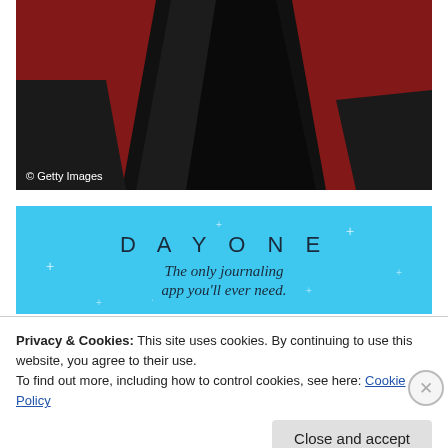[Figure (photo): Photo of a black dress/gown against a red carpet background, showing the lower portion of the garment. Getty Images watermark visible in lower left.]
[Figure (other): Advertisement banner for 'DAY ONE' journaling app with light blue background and star decorations. Text reads 'DAY ONE' and 'The only journaling app you'll ever need.']
Privacy & Cookies: This site uses cookies. By continuing to use this website, you agree to their use.
To find out more, including how to control cookies, see here: Cookie Policy
Close and accept